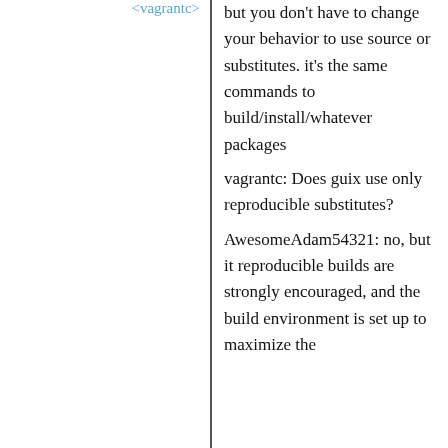<vagrantc>
but you don't have to change your behavior to use source or substitutes. it's the same commands to build/install/whatever packages
<AwesomeAdam54321>
vagrantc: Does guix use only reproducible substitutes?
<vagrantc>
AwesomeAdam54321: no, but it reproducible builds are strongly encouraged, and the build environment is set up to maximize the